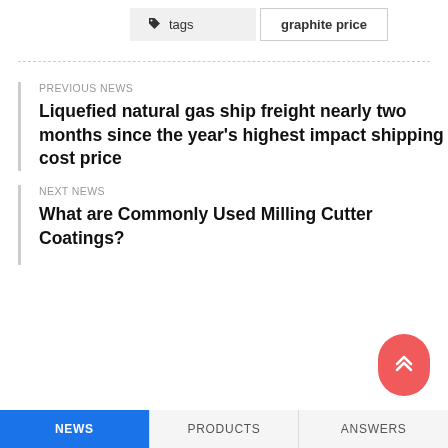tags   graphite price
PREVIOUS NEWS
Liquefied natural gas ship freight nearly two months since the year's highest impact shipping cost price
NEXT NEWS
What are Commonly Used Milling Cutter Coatings?
NEWS   PRODUCTS   ANSWERS